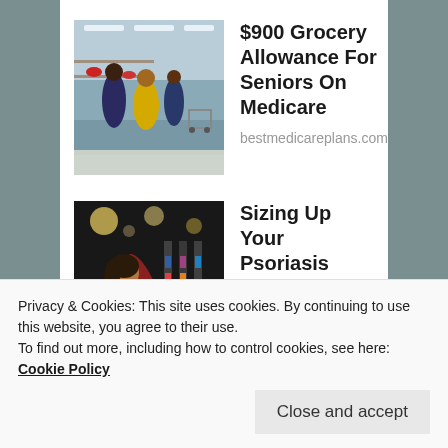[Figure (photo): People shopping in a grocery store aisle]
$900 Grocery Allowance For Seniors On Medicare
bestmedicareplans.com
[Figure (photo): Woman browsing items on a pharmacy shelf]
Sizing Up Your Psoriasis Medicine Cabinet
HealthCentral
sponsored by
Privacy & Cookies: This site uses cookies. By continuing to use this website, you agree to their use.
To find out more, including how to control cookies, see here: Cookie Policy